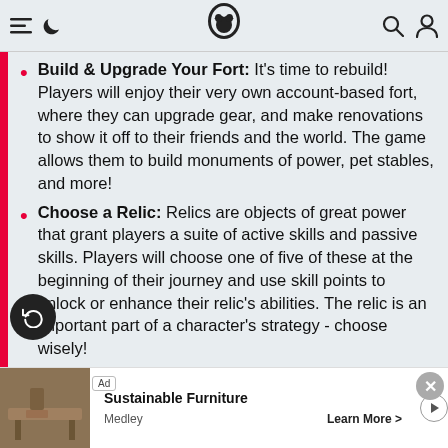Navigation header with menu, moon/dark-mode, logo, search, and profile icons
Build & Upgrade Your Fort: It's time to rebuild! Players will enjoy their very own account-based fort, where they can upgrade gear, and make renovations to show it off to their friends and the world. The game allows them to build monuments of power, pet stables, and more!
Choose a Relic: Relics are objects of great power that grant players a suite of active skills and passive skills. Players will choose one of five of these at the beginning of their journey and use skill points to unlock or enhance their relic's abilities. The relic is an important part of a character's strategy - choose wisely!
Collect Epic Gear: Suit up in a robust variety of ...
[Figure (screenshot): Ad banner for Sustainable Furniture by Medley with Learn More button]